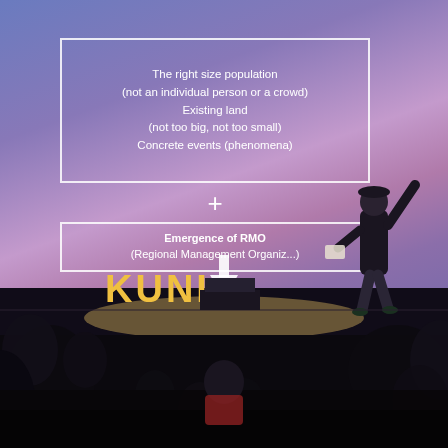[Figure (photo): Photograph of a presenter standing on a stage before a large projection screen in a darkened auditorium. The screen displays a slide with two white-bordered boxes and text. The upper box lists: 'The right size population (not an individual person or a crowd)', 'Existing land', '(not too big, not too small)', 'Concrete events (phenomena)'. Below a '+' symbol, a second box reads 'Emergence of RMO (Regional Management Organiz...)'. A downward arrow leads to the word 'KUNI' in large yellow text. The presenter, wearing dark clothing, has one arm raised. An audience is visible in the foreground as dark silhouettes.]